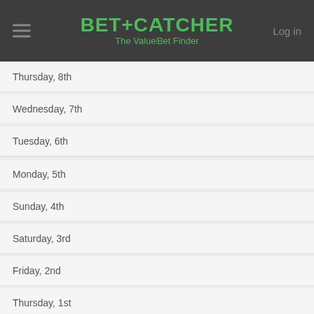BET+CATCHER The ValueBet Finder
Thursday, 8th
Wednesday, 7th
Tuesday, 6th
Monday, 5th
Sunday, 4th
Saturday, 3rd
Friday, 2nd
Thursday, 1st
2021
Wednesday, 31st
Tuesday, 30th
Monday, 29th
Sunday, 28th